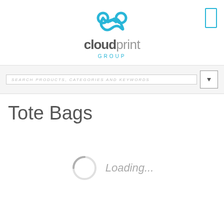[Figure (logo): CloudPrint Group logo with blue cloud/infinity icon above stylized text reading 'cloudprint GROUP' in grey and cyan]
SEARCH PRODUCTS, CATEGORIES AND KEYWORDS
Tote Bags
Loading...